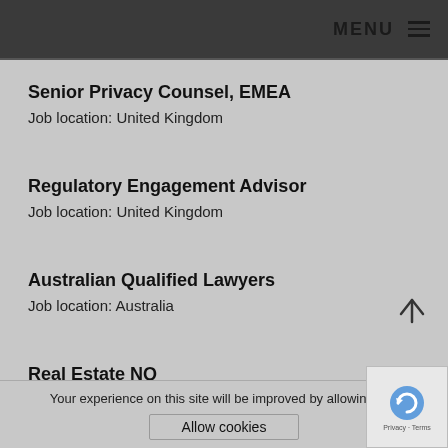MENU
Senior Privacy Counsel, EMEA
Job location: United Kingdom
Regulatory Engagement Advisor
Job location: United Kingdom
Australian Qualified Lawyers
Job location: Australia
Real Estate NQ
Job location: London
Your experience on this site will be improved by allowing cookies
Allow cookies